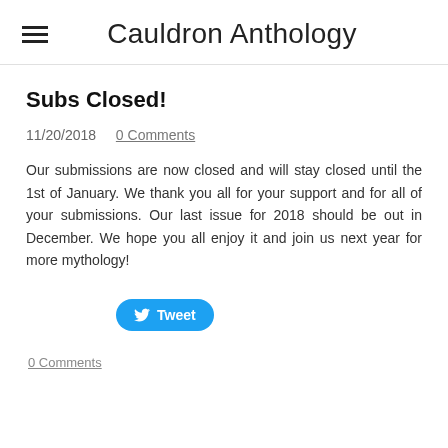Cauldron Anthology
Subs Closed!
11/20/2018   0 Comments
Our submissions are now closed and will stay closed until the 1st of January. We thank you all for your support and for all of your submissions. Our last issue for 2018 should be out in December. We hope you all enjoy it and join us next year for more mythology!
[Figure (other): Tweet button]
0 Comments